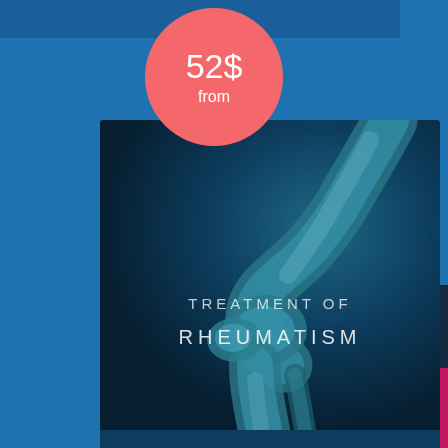[Figure (illustration): Medical card UI showing a knee joint X-ray/3D illustration with blue tones, price badge showing '52$ from' in coral/salmon circle, text overlays reading 'TREATMENT OF RHEUMATISM', and footer text 'Lorem ipsum dolor sit']
52$
from
TREATMENT OF RHEUMATISM
Lorem ipsum dolor sit
NOW